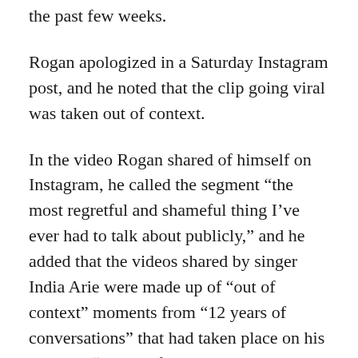the past few weeks.
Rogan apologized in a Saturday Instagram post, and he noted that the clip going viral was taken out of context.
In the video Rogan shared of himself on Instagram, he called the segment “the most regretful and shameful thing I’ve ever had to talk about publicly,” and he added that the videos shared by singer India Arie were made up of “out of context” moments from “12 years of conversations” that had taken place on his podcast. “It looks f— horrible. Even to me,” he said.
“I know that to most people, there is no context where a white person is ever allowed to say that word, never mind publicly on a podcast. And I agree